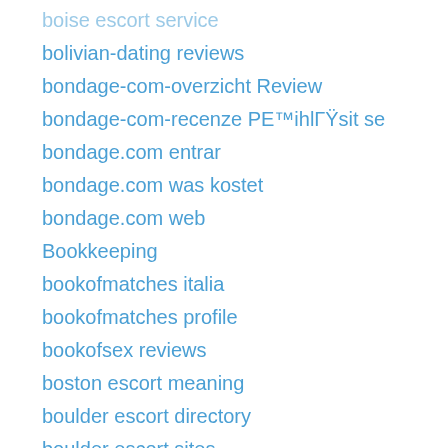boise escort service
bolivian-dating reviews
bondage-com-overzicht Review
bondage-com-recenze PE™ihlГŸsit se
bondage.com entrar
bondage.com was kostet
bondage.com web
Bookkeeping
bookofmatches italia
bookofmatches profile
bookofsex reviews
boston escort meaning
boulder escort directory
boulder escort sites
boulder escort website